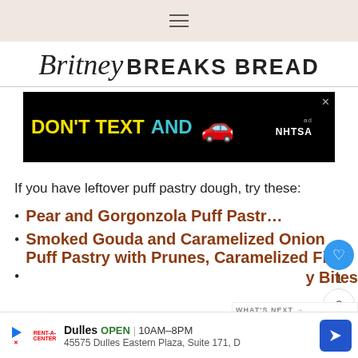≡
Britney BREAKS BREAD
[Figure (screenshot): Advertisement banner: DON'T TEXT AND [car emoji] NHTSA ad]
If you have leftover puff pastry dough, try these:
Pear and Gorgonzola Puff Pastr…
Smoked Gouda and Caramelized Onion Puff Pastry with Prunes, Caramelized Figs
…y Bites
[Figure (screenshot): Bottom advertisement: Dulles OPEN 10AM-8PM, 45575 Dulles Eastern Plaza, Suite 171, D — with navigation arrow icon]